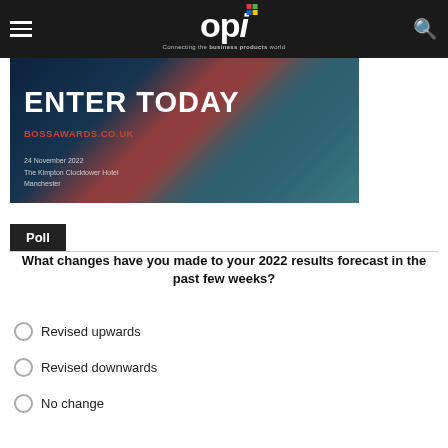OPI – Connecting the business products world
[Figure (photo): BOSS Awards banner: ENTER TODAY, bossawards.co.uk, 24 November 2022, The Kimpton Clocktower Hotel Manchester]
Poll
What changes have you made to your 2022 results forecast in the past few weeks?
Revised upwards
Revised downwards
No change